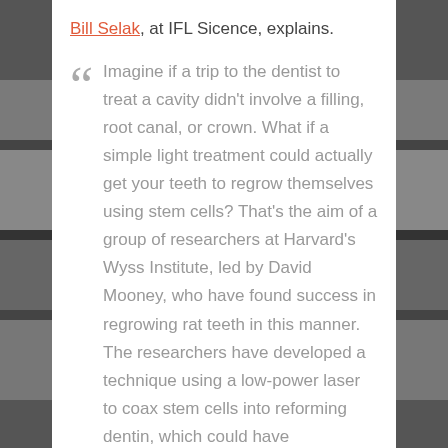Bill Selak, at IFL Sicence, explains.
Imagine if a trip to the dentist to treat a cavity didn't involve a filling, root canal, or crown. What if a simple light treatment could actually get your teeth to regrow themselves using stem cells? That's the aim of a group of researchers at Harvard's Wyss Institute, led by David Mooney, who have found success in regrowing rat teeth in this manner. The researchers have developed a technique using a low-power laser to coax stem cells into reforming dentin, which could have implications for dentistry, wound healing, and bone restoration. The results